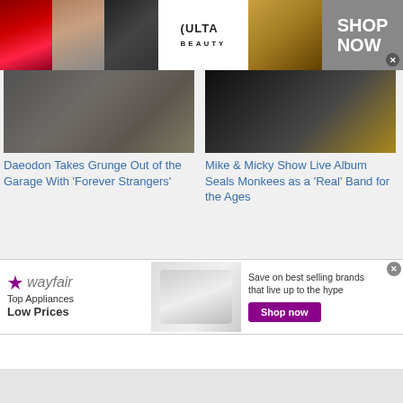[Figure (advertisement): ULTA Beauty banner ad with makeup photos (red lips, makeup brush, eye makeup, ULTA logo, model eyes), 'SHOP NOW' call to action with close button]
[Figure (photo): Photo for article 'Daeodon Takes Grunge Out of the Garage With Forever Strangers' - shows two musicians]
[Figure (photo): Photo for article 'Mike & Micky Show Live Album Seals Monkees as a Real Band for the Ages' - shows concert/crowd with popcorn overlay]
Daeodon Takes Grunge Out of the Garage With ‘Forever Strangers’
Mike & Micky Show Live Album Seals Monkees as a ‘Real’ Band for the Ages
[Figure (photo): Photo collage for Micky Dolenz and Todd article - man at microphone with hat and sunglasses, plus smaller portrait photos]
Micky Dolenz, Todd
The Road To Abbey Road,
[Figure (advertisement): Wayfair ad - Top Appliances Low Prices, image of stove/range appliance, 'Save on best selling brands that live up to the hype', purple Shop now button]